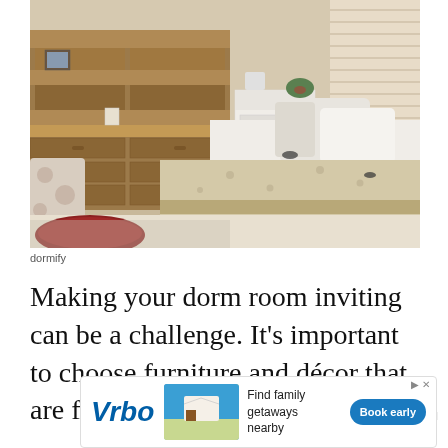[Figure (photo): A cozy dormitory room with a wooden desk with shelving, a floral chair, a white nightstand with a small plant, and a bed with white pillows and a textured beige throw blanket with tassels, red ottoman on floor]
dormify
Making your dorm room inviting can be a challenge. It’s important to choose furniture and décor that are functional, but also bring
[Figure (other): Vrbo advertisement banner: logo on left, vacation rental beach house image in center, 'Find family getaways nearby' text, 'Book early' blue button on right, with Ad label and X close button]